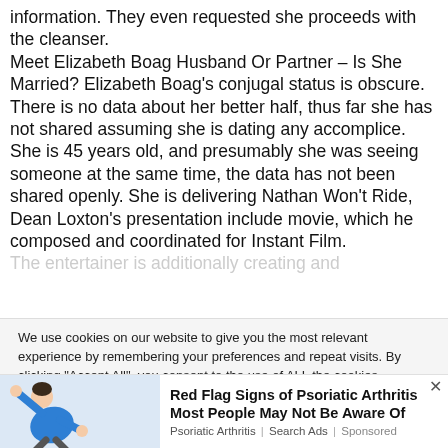information. They even requested she proceeds with the cleanser. Meet Elizabeth Boag Husband Or Partner – Is She Married? Elizabeth Boag's conjugal status is obscure. There is no data about her better half, thus far she has not shared assuming she is dating any accomplice. She is 45 years old, and presumably she was seeing someone at the same time, the data has not been shared openly. She is delivering Nathan Won't Ride, Dean Loxton's presentation include movie, which he composed and coordinated for Instant Film. The entertainer is additionally creating and
We use cookies on our website to give you the most relevant experience by remembering your preferences and repeat visits. By clicking "Accept All", you consent to the use of ALL the cookies. However, you may visit "Cookie Settings" to provide a controlled consent.
[Figure (illustration): Cartoon illustration of a person in blue shirt stretching or exercising]
Red Flag Signs of Psoriatic Arthritis Most People May Not Be Aware Of
Psoriatic Arthritis | Search Ads | Sponsored